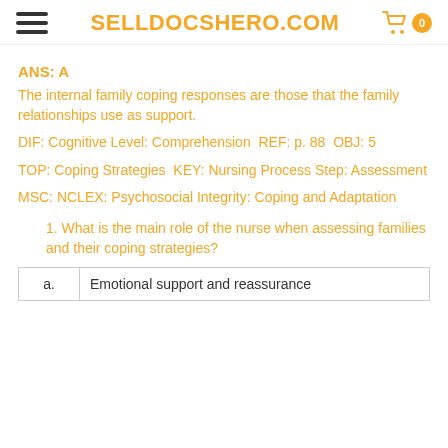SELLDOCSHERO.COM
ANS: A
The internal family coping responses are those that the family relationships use as support.
DIF: Cognitive Level: Comprehension REF: p. 88 OBJ: 5
TOP: Coping Strategies KEY: Nursing Process Step: Assessment
MSC: NCLEX: Psychosocial Integrity: Coping and Adaptation
1. What is the main role of the nurse when assessing families and their coping strategies?
|  |  |
| --- | --- |
| a. | Emotional support and reassurance |